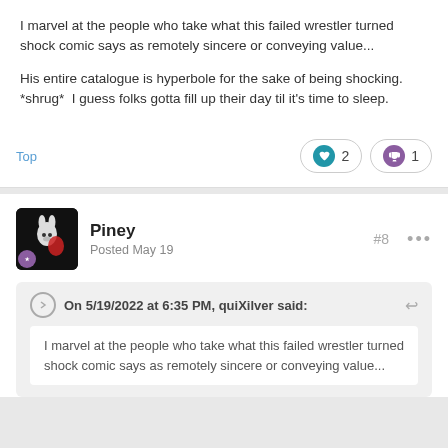I marvel at the people who take what this failed wrestler turned shock comic says as remotely sincere or conveying value...

His entire catalogue is hyperbole for the sake of being shocking. *shrug*  I guess folks gotta fill up their day til it's time to sleep.
Top
♥ 2   🏆 1
Piney
Posted May 19
#8
On 5/19/2022 at 6:35 PM, quiXilver said:
I marvel at the people who take what this failed wrestler turned shock comic says as remotely sincere or conveying value...